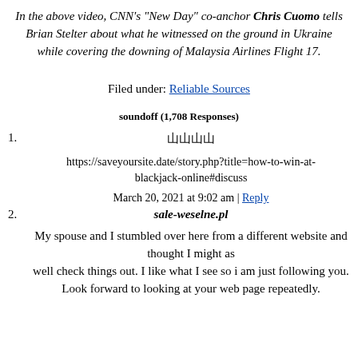In the above video, CNN's "New Day" co-anchor Chris Cuomo tells Brian Stelter about what he witnessed on the ground in Ukraine while covering the downing of Malaysia Airlines Flight 17.
Filed under: Reliable Sources
soundoff (1,708 Responses)
1. 山山山山
https://saveyoursite.date/story.php?title=how-to-win-at-blackjack-online#discuss
March 20, 2021 at 9:02 am | Reply
2. sale-weselne.pl
My spouse and I stumbled over here from a different website and thought I might as well check things out. I like what I see so i am just following you.
Look forward to looking at your web page repeatedly.